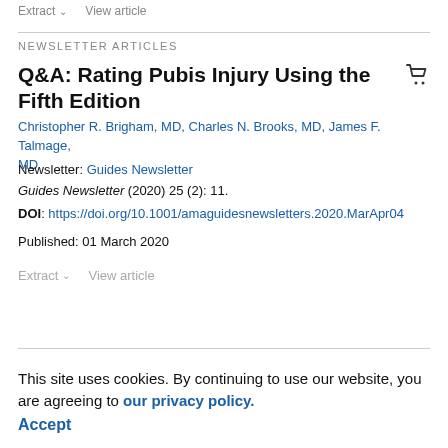Extract  View article
NEWSLETTER ARTICLES
Q&A: Rating Pubis Injury Using the Fifth Edition
Christopher R. Brigham, MD, Charles N. Brooks, MD, James F. Talmage, MD
Newsletter: Guides Newsletter
Guides Newsletter (2020) 25 (2): 11.
DOI: https://doi.org/10.1001/amaguidesnewsletters.2020.MarApr04
Published: 01 March 2020
Extract  View article
This site uses cookies. By continuing to use our website, you are agreeing to our privacy policy. Accept